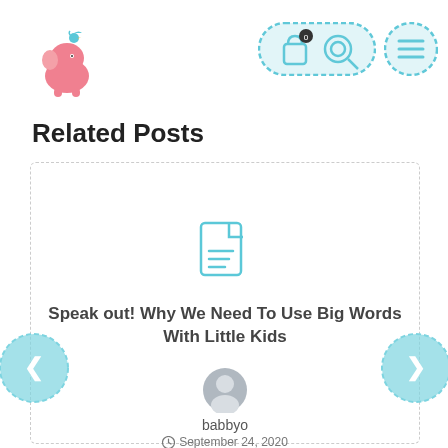[Figure (logo): Pink elephant logo with small bird on top]
[Figure (screenshot): Navigation bar icons: shopping bag with 0 badge, key/search icon in teal pill shape, and hamburger menu in teal circle]
Related Posts
[Figure (illustration): Card with dashed border containing a document/article icon in teal, title 'Speak out! Why We Need To Use Big Words With Little Kids', user avatar, username 'babbyo', date 'September 24, 2020', and left/right navigation arrows]
Speak out! Why We Need To Use Big Words With Little Kids
babbyo
September 24, 2020